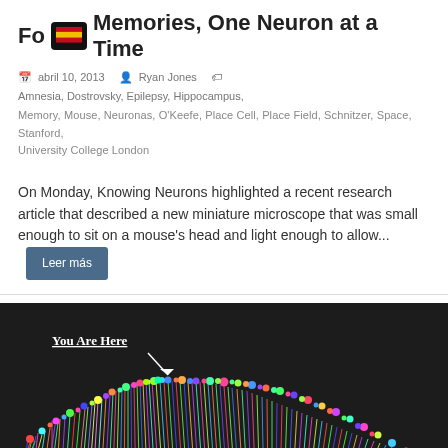Fo[...] Memories, One Neuron at a Time
abril 10, 2013  Ryan Jones  Amnesia, Dostrovsky, Epilepsy, Hippocampus, Memory, Mouse, Neuronas, O'Keefe, Place Cell, Place Field, Schnitzer, Space, Stanford, University College London
On Monday, Knowing Neurons highlighted a recent research article that described a new miniature microscope that was small enough to sit on a mouse's head and light enough to allow...
[Figure (photo): Fluorescence microscopy image of neurons on a dark background with colorful fiber-like projections arranged in an arc. White text 'You Are Here' with an arrow pointing to neurons near the top.]